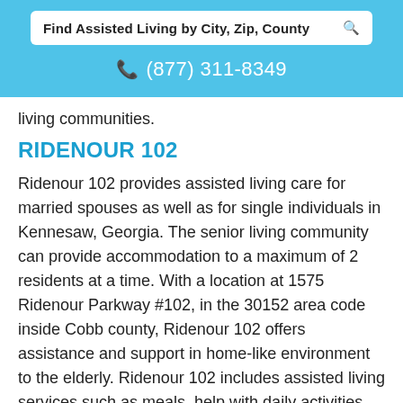Find Assisted Living by City, Zip, County
(877) 311-8349
living communities.
RIDENOUR 102
Ridenour 102 provides assisted living care for married spouses as well as for single individuals in Kennesaw, Georgia. The senior living community can provide accommodation to a maximum of 2 residents at a time. With a location at 1575 Ridenour Parkway #102, in the 30152 area code inside Cobb county, Ridenour 102 offers assistance and support in home-like environment to the elderly. Ridenour 102 includes assisted living services such as meals, help with daily activities, evening bath, getting